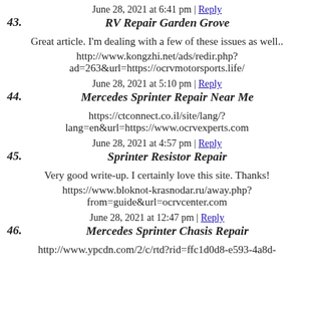June 28, 2021 at 6:41 pm | Reply
43. RV Repair Garden Grove
Great article. I'm dealing with a few of these issues as well..
http://www.kongzhi.net/ads/redir.php?ad=263&url=https://ocrvmotorsports.life/
June 28, 2021 at 5:10 pm | Reply
44. Mercedes Sprinter Repair Near Me
https://ctconnect.co.il/site/lang/?lang=en&url=https://www.ocrvexperts.com
June 28, 2021 at 4:57 pm | Reply
45. Sprinter Resistor Repair
Very good write-up. I certainly love this site. Thanks!
https://www.bloknot-krasnodar.ru/away.php?from=guide&url=ocrvcenter.com
June 28, 2021 at 12:47 pm | Reply
46. Mercedes Sprinter Chasis Repair
http://www.ypcdn.com/2/c/rtd?rid=ffc1d0d8-e593-4a8d-